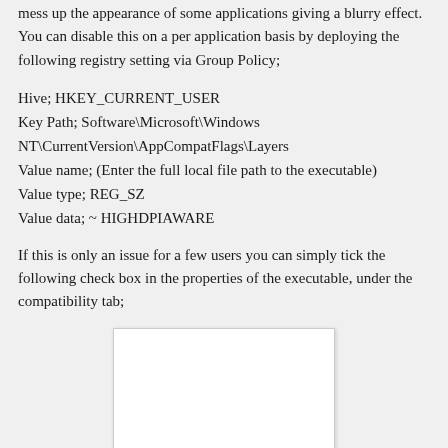mess up the appearance of some applications giving a blurry effect. You can disable this on a per application basis by deploying the following registry setting via Group Policy;
Hive; HKEY_CURRENT_USER
Key Path; Software\Microsoft\Windows NT\CurrentVersion\AppCompatFlags\Layers
Value name; (Enter the full local file path to the executable)
Value type; REG_SZ
Value data; ~ HIGHDPIAWARE
If this is only an issue for a few users you can simply tick the following check box in the properties of the executable, under the compatibility tab;
[Figure (screenshot): A blank white screenshot box representing a properties/compatibility dialog screenshot placeholder.]